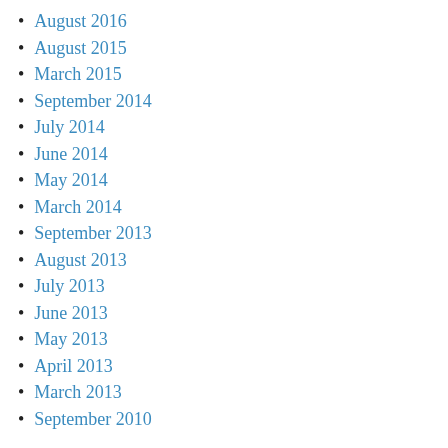August 2016
August 2015
March 2015
September 2014
July 2014
June 2014
May 2014
March 2014
September 2013
August 2013
July 2013
June 2013
May 2013
April 2013
March 2013
September 2010